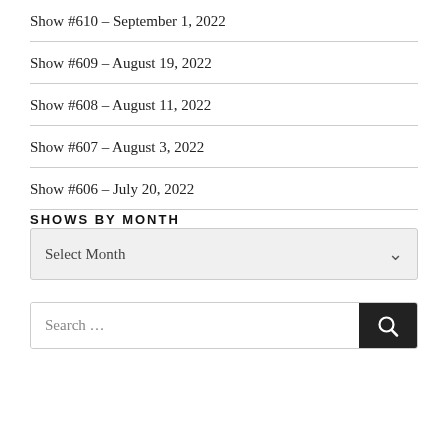Show #610 – September 1, 2022
Show #609 – August 19, 2022
Show #608 – August 11, 2022
Show #607 – August 3, 2022
Show #606 – July 20, 2022
SHOWS BY MONTH
Select Month
Search …